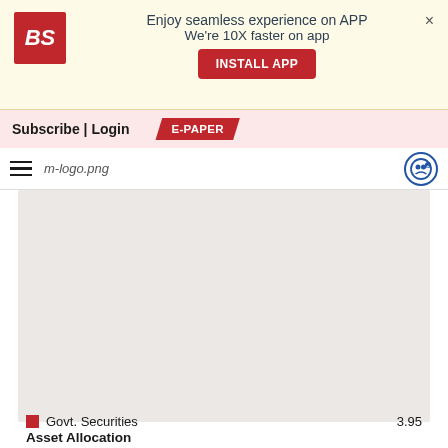Enjoy seamless experience on APP We're 10X faster on app
Subscribe | Login
E-PAPER
[Figure (logo): m-logo.png — Business Standard mobile logo]
[Figure (other): Empty chart/graph placeholder area with light grey background]
Asset Allocation
Govt. Securities  3.95